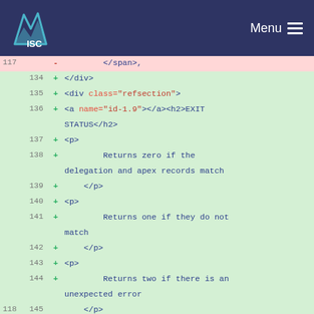ISC Menu
[Figure (screenshot): Code diff view showing HTML source changes. Removed lines (pink background, line 117-119) and added lines (green background, lines 134-145) of HTML markup including div, span, a, h2, and p tags for a dnssec-signzone man page section about EXIT STATUS.]